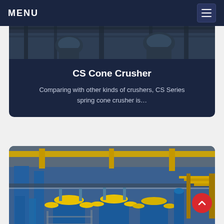MENU
[Figure (photo): Industrial machinery photo strip showing metallic equipment and structural framework]
CS Cone Crusher
Comparing with other kinds of crushers, CS Series spring cone crusher is...
[Figure (photo): Large industrial processing facility with blue cone crushers and yellow structural framework on multiple levels]